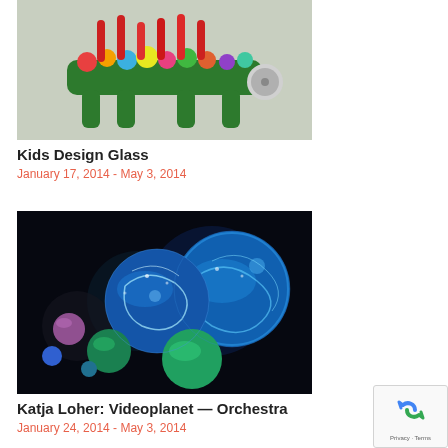[Figure (photo): Colorful glass art sculpture shaped like a festive creature with green legs, decorated with colorful glass elements and tall red candle-like protrusions on top, on a gray background.]
Kids Design Glass
January 17, 2014 - May 3, 2014
[Figure (photo): Dark background with glowing glass spheres of various sizes showing blue, green, and purple luminescent patterns and textures — an artistic glass installation.]
Katja Loher: Videoplanet — Orchestra
January 24, 2014 - May 3, 2014